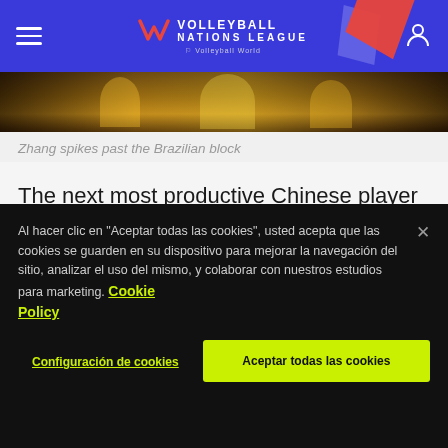Volleyball Nations League
[Figure (photo): Photo of volleyball players during a match with crowd in background]
Zhang spikes past the Brazilian block
The next most productive Chinese player in the match was opposite Zhang Guanhua, with nine points, all in kills.
Al hacer clic en "Aceptar todas las cookies", usted acepta que las cookies se guarden en su dispositivo para mejorar la navegación del sitio, analizar el uso del mismo, y colaborar con nuestros estudios para marketing. Cookie Policy
Configuración de cookies
Aceptar todas las cookies